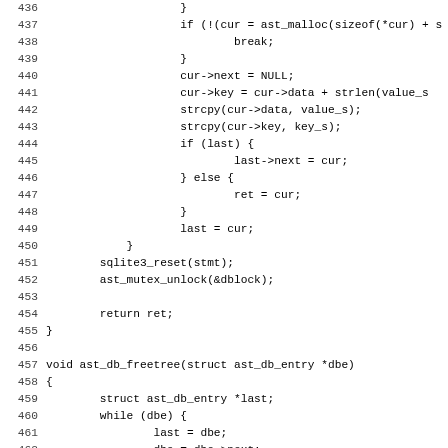[Figure (other): Source code listing in C, lines 436-467, showing functions for database linked list management including ast_db_freetree and handle_cli_database_put]